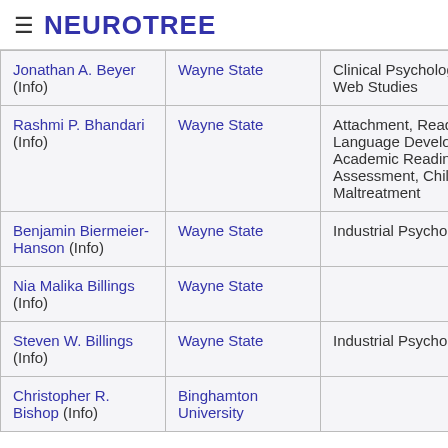≡ NEUROTREE
| Name | Institution | Area |  |
| --- | --- | --- | --- |
| Jonathan A. Beyer (Info) | Wayne State | Clinical Psychology, Web Studies | pq |
| Rashmi P. Bhandari (Info) | Wayne State | Attachment, Reading & Language Development, Academic Readiness, Assessment, Child Maltreatment | pq |
| Benjamin Biermeier-Hanson (Info) | Wayne State | Industrial Psychology | pq |
| Nia Malika Billings (Info) | Wayne State |  | rap |
| Steven W. Billings (Info) | Wayne State | Industrial Psychology | pq |
| Christopher R. Bishop (Info) | Binghamton University |  | seh |